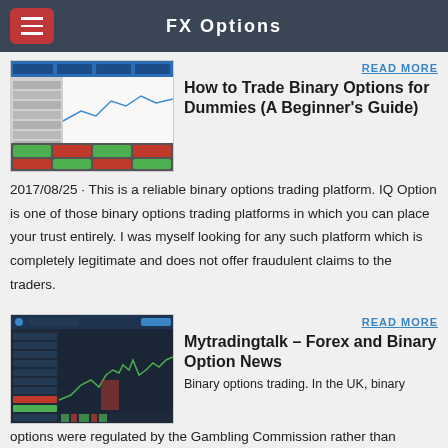FX Options
[Figure (screenshot): Trading platform screenshot showing binary options interface with colorful buttons and chart]
How to Trade Binary Options for Dummies (A Beginner's Guide)
2017/08/25 · This is a reliable binary options trading platform. IQ Option is one of those binary options trading platforms in which you can place your trust entirely. I was myself looking for any such platform which is completely legitimate and does not offer fraudulent claims to the traders.
[Figure (screenshot): Trading platform screenshot showing charts and binary options interface with dark theme]
Mytradingtalk – Forex and Binary Option News
Binary options trading. In the UK, binary options were regulated by the Gambling Commission rather than